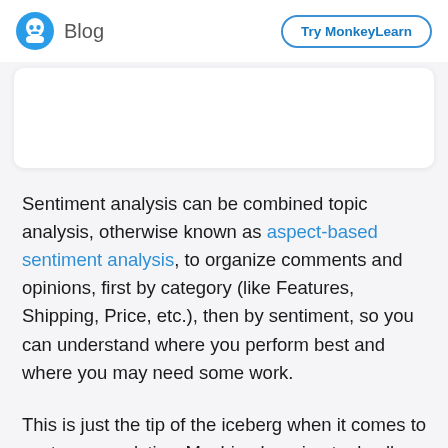Blog | Try MonkeyLearn
[Figure (other): Partially visible white card/screenshot area]
Sentiment analysis can be combined topic analysis, otherwise known as aspect-based sentiment analysis, to organize comments and opinions, first by category (like Features, Shipping, Price, etc.), then by sentiment, so you can understand where you perform best and where you may need some work.
This is just the tip of the iceberg when it comes to customer analytics. Machine learning tools allow you